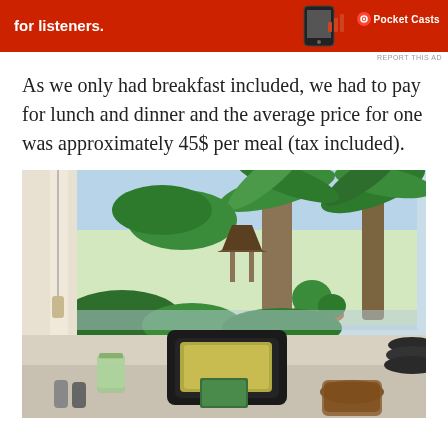[Figure (other): Red advertisement banner for Pocket Casts podcast app with white text 'for listeners.' and phone graphic]
As we only had breakfast included, we had to pay for lunch and dinner and the average price for one was approximately 45$ per meal (tax included).
[Figure (photo): Restaurant dining area photo showing a table with a mason jar, menu holder, and drinks with a tropical outdoor view featuring palm trees, a gazebo, and potted plants visible through large windows]